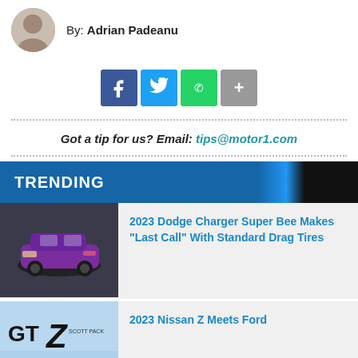By: Adrian Padeanu
[Figure (infographic): Social share buttons: Facebook, Twitter, WhatsApp, More]
Got a tip for us? Email: tips@motor1.com
TRENDING
[Figure (photo): Purple 2023 Dodge Charger Super Bee car]
2023 Dodge Charger Super Bee Makes "Last Call" With Standard Drag Tires
[Figure (photo): GT Z Scott Pack car image]
2023 Nissan Z Meets Ford